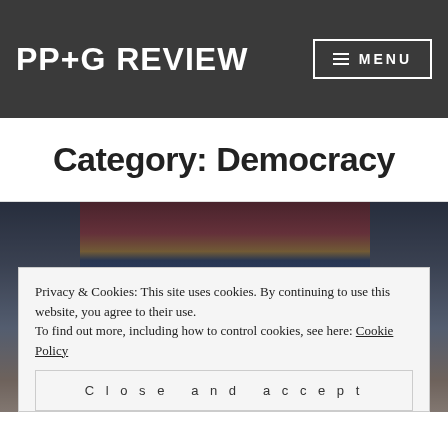PP+G REVIEW
Category: Democracy
[Figure (photo): Crowd at a political rally with an Arizona state flag in the background and a woman with blonde hair visible in the foreground.]
Privacy & Cookies: This site uses cookies. By continuing to use this website, you agree to their use.
To find out more, including how to control cookies, see here: Cookie Policy
Close and accept